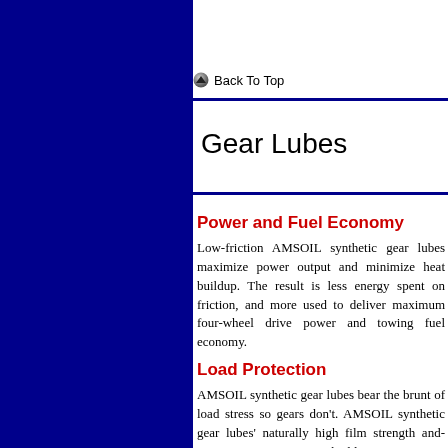[Figure (other): Dark navy blue decorative left panel]
Back To Top
Gear Lubes
Power and Fuel Economy
Low-friction AMSOIL synthetic gear lubes maximize power output and minimize heat buildup. The result is less energy spent on friction, and more used to deliver maximum four-wheel drive power and towing fuel economy.
Load Protection
AMSOIL synthetic gear lubes bear the brunt of load stress so gears don't. AMSOIL synthetic gear lubes' naturally high film strength and extreme-pressure agents shield components...